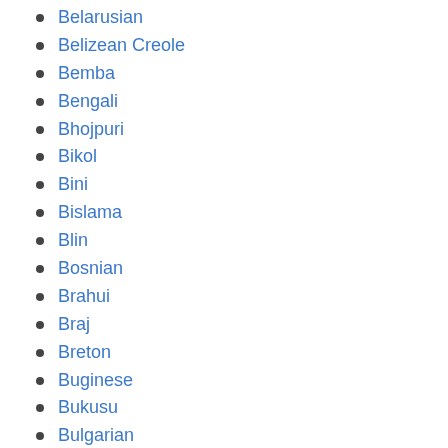Belarusian
Belizean Creole
Bemba
Bengali
Bhojpuri
Bikol
Bini
Bislama
Blin
Bosnian
Brahui
Braj
Breton
Buginese
Bukusu
Bulgarian
Bura
Burmese
Burushaski
Buryat
Cameroonian Creole
Cañar–Loja
Carib